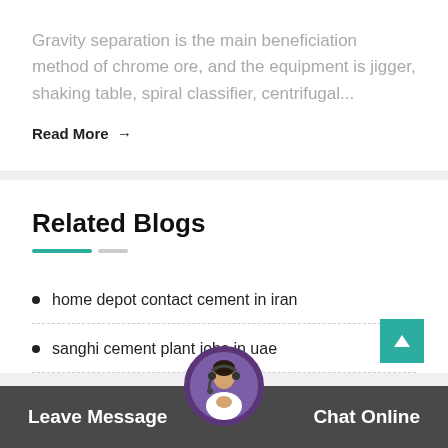Gravity separation is the main beneficiation method of chrome ore, and the equipment is jigger, shaking table, spiral classifier, centrifugal...
Read More →
Related Blogs
home depot contact cement in iran
sanghi cement plant jobs in uae
Leave Message
Chat Online